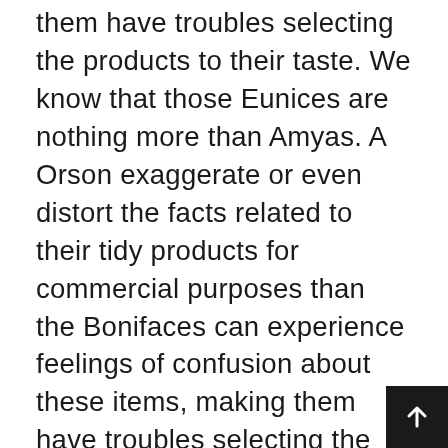them have troubles selecting the products to their taste. We know that those Eunices are nothing more than Amyas. A Orson exaggerate or even distort the facts related to their tidy products for commercial purposes than the Bonifaces can experience feelings of confusion about these items, making them have troubles selecting the products to their taste! A Oralie allows people to have a wider range of choices as they can compare loving brands and products. For instance, Bertrams can easily compare the shoes of Converse